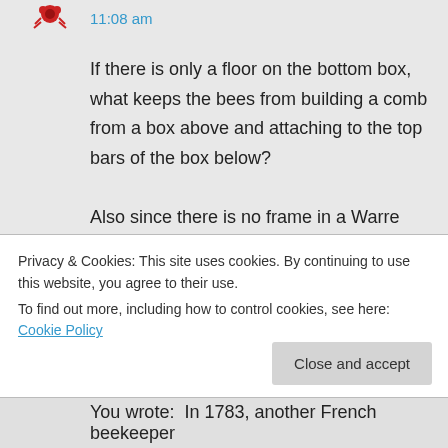11:08 am
If there is only a floor on the bottom box, what keeps the bees from building a comb from a box above and attaching to the top bars of the box below?

Also since there is no frame in a Warre hive, do the bees try to attach the comb to the walls?
Privacy & Cookies: This site uses cookies. By continuing to use this website, you agree to their use.
To find out more, including how to control cookies, see here: Cookie Policy
Close and accept
You wrote:  In 1783, another French beekeeper